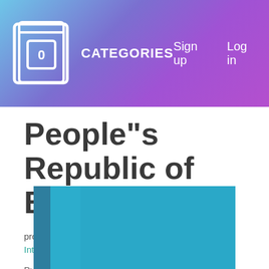CATEGORIES   Sign up   Log in
People"s Republic of Bangladesh
project findings and recommendations : report by International Labour Organisation.
Publisher: United Nations Development Programme, Publisher: ILO in Geneva
Written in English
[Figure (illustration): Book cover image in teal/blue color at bottom of page]